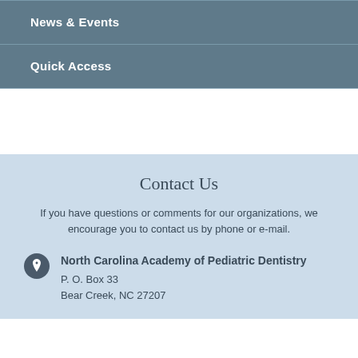News & Events
Quick Access
Contact Us
If you have questions or comments for our organizations, we encourage you to contact us by phone or e-mail.
North Carolina Academy of Pediatric Dentistry
P. O. Box 33
Bear Creek, NC 27207